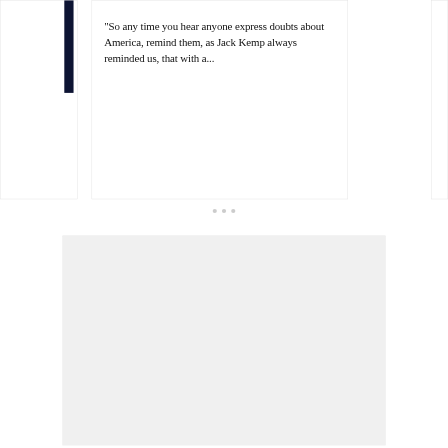"So any time you hear anyone express doubts about America, remind them, as Jack Kemp always reminded us, that with a...
[Figure (other): A grey rectangular card area below the quote card, with a circular back-to-top chevron button in the lower right corner.]